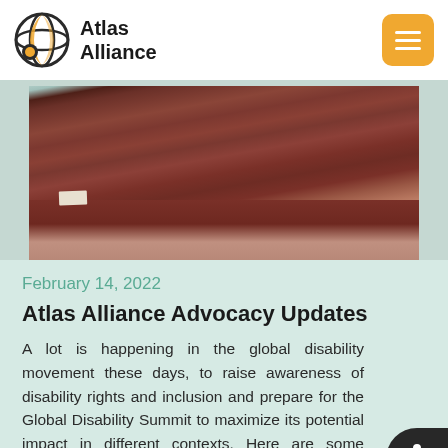Atlas Alliance
[Figure (photo): Photo of people seated at a table with a dark red/maroon tablecloth at what appears to be a conference or panel event. Name placards are visible on the table.]
February 14, 2022
Atlas Alliance Advocacy Updates
A lot is happening in the global disability movement these days, to raise awareness of disability rights and inclusion and prepare for the Global Disability Summit to maximize its potential impact in different contexts. Here are some highlights the Atlas Alliance have